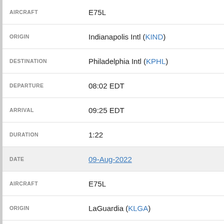| Field | Value |
| --- | --- |
| AIRCRAFT | E75L |
| ORIGIN | Indianapolis Intl (KIND) |
| DESTINATION | Philadelphia Intl (KPHL) |
| DEPARTURE | 08:02 EDT |
| ARRIVAL | 09:25 EDT |
| DURATION | 1:22 |
| DATE | 09-Aug-2022 |
| AIRCRAFT | E75L |
| ORIGIN | LaGuardia (KLGA) |
| DESTINATION | Indianapolis Intl (KIND) |
| DEPARTURE | 17:31 EDT |
| ARRIVAL | 19:13 EDT |
| DURATION | 1:41 |
| DATE | 09-Aug-2022 |
| AIRCRAFT | E75L |
| ORIGIN | Indianapolis Intl (KIND) |
| DESTINATION | LaGuardia (KLGA) |